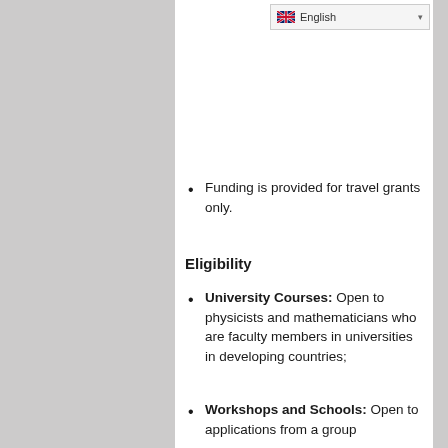Funding is provided for travel grants only.
Eligibility
University Courses: Open to physicists and mathematicians who are faculty members in universities in developing countries;
Workshops and Schools: Open to applications from a group